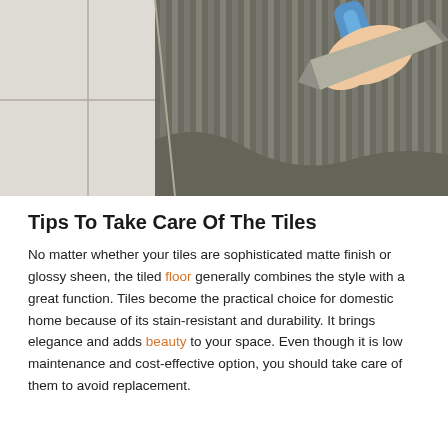[Figure (photo): A hand holding a notched trowel spreading grey tile adhesive/mortar on a floor surface, with white ceramic tiles beside it.]
Tips To Take Care Of The Tiles
No matter whether your tiles are sophisticated matte finish or glossy sheen, the tiled floor generally combines the style with a great function. Tiles become the practical choice for domestic home because of its stain-resistant and durability. It brings elegance and adds beauty to your space. Even though it is low maintenance and cost-effective option, you should take care of them to avoid replacement.